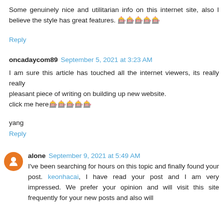Some genuinely nice and utilitarian info on this internet site, also I believe the style has great features. 🎰🎰🎰🎰🎰
Reply
oncadaycom89  September 5, 2021 at 3:23 AM
I am sure this article has touched all the internet viewers, its really really pleasant piece of writing on building up new website. click me here🎰🎰🎰🎰🎰
yang
Reply
alone  September 9, 2021 at 5:49 AM
I've been searching for hours on this topic and finally found your post. keonhacai, I have read your post and I am very impressed. We prefer your opinion and will visit this site frequently for your new posts and also will...